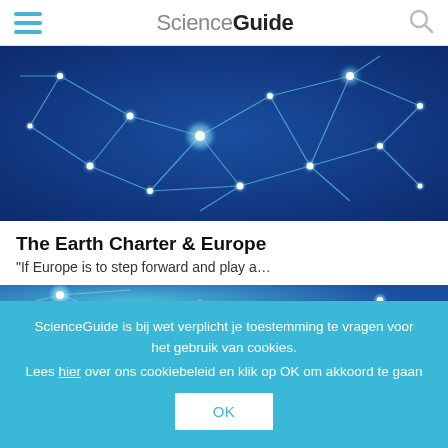ScienceGuide
[Figure (illustration): Blue network diagram with glowing nodes and connecting lines on dark blue background]
The Earth Charter & Europe
“If Europe is to step forward and play a…
[Figure (illustration): Partial blue network diagram — bottom of second article image]
ScienceGuide is bij wet verplicht je toestemming te vragen voor het gebruik van cookies.
Lees hier over ons cookiebeleid en klik op OK om akkoord te gaan